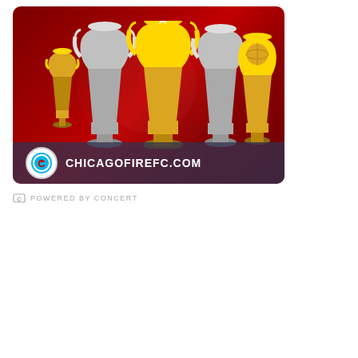[Figure (illustration): Chicago Fire FC advertisement banner on dark red/maroon background showing multiple soccer trophies (gold and silver cups) displayed prominently. At the bottom, a logo bar shows the Chicago Fire FC circular badge logo and the text 'CHICAGOFIREFC.COM' in white on a dark semi-transparent strip.]
POWERED BY CONCERT